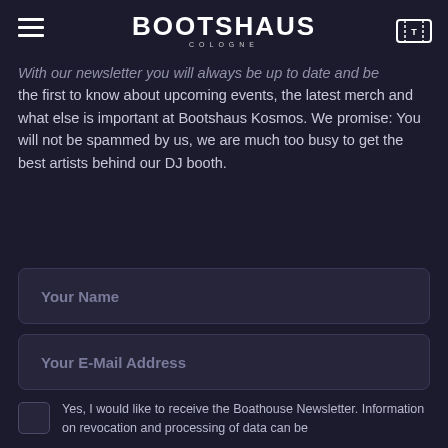BOOTSHAUS COLOGNE
With our newsletter you will always be up to date and be the first to know about upcoming events, the latest merch and what else is important at Bootshaus Kosmos. We promise: You will not be spammed by us, we are much too busy to get the best artists behind our DJ booth.
Your Name
Your E-Mail Address
Yes, I would like to receive the Boathouse Newsletter. Information on revocation and processing of data can be found in the privacy policy. The...